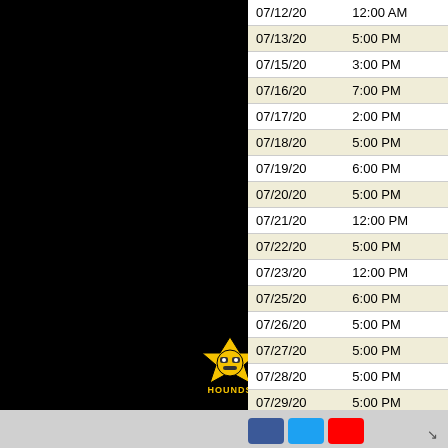[Figure (logo): Black panel on left side with Hounds team logo at bottom]
| Date | Time |
| --- | --- |
| 07/12/20 | 12:00 AM |
| 07/13/20 | 5:00 PM |
| 07/15/20 | 3:00 PM |
| 07/16/20 | 7:00 PM |
| 07/17/20 | 2:00 PM |
| 07/18/20 | 5:00 PM |
| 07/19/20 | 6:00 PM |
| 07/20/20 | 5:00 PM |
| 07/21/20 | 12:00 PM |
| 07/22/20 | 5:00 PM |
| 07/23/20 | 12:00 PM |
| 07/25/20 | 6:00 PM |
| 07/26/20 | 5:00 PM |
| 07/27/20 | 5:00 PM |
| 07/28/20 | 5:00 PM |
| 07/29/20 | 5:00 PM |
| 07/30/20 | 1:00 PM |
| 07/31/20 | 12:00 PM |
| 08/01/20 | 1:00 PM |
| 08/02/20 | 5:30 PM |
| 08/03/20 | 12:00 PM |